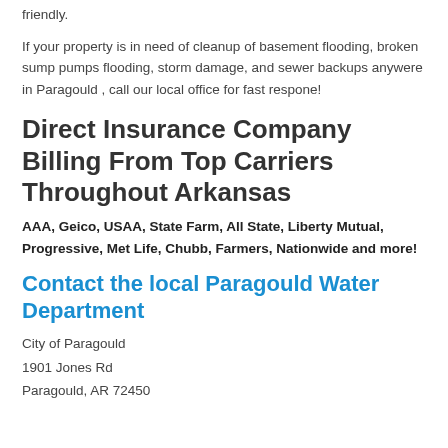friendly.
If your property is in need of cleanup of basement flooding, broken sump pumps flooding, storm damage, and sewer backups anywere in Paragould , call our local office for fast respone!
Direct Insurance Company Billing From Top Carriers Throughout Arkansas
AAA, Geico, USAA, State Farm, All State, Liberty Mutual, Progressive, Met Life, Chubb, Farmers, Nationwide and more!
Contact the local Paragould Water Department
City of Paragould
1901 Jones Rd
Paragould, AR 72450